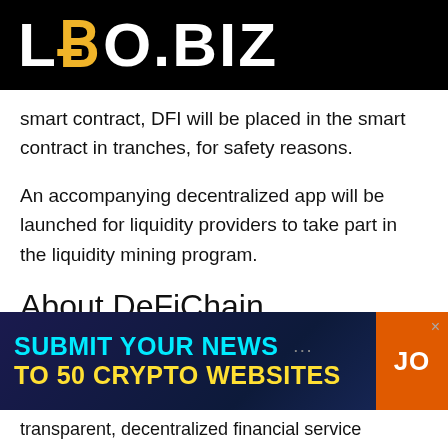LBO.BIZ
smart contract, DFI will be placed in the smart contract in tranches, for safety reasons.
An accompanying decentralized app will be launched for liquidity providers to take part in the liquidity mining program.
About DeFiChain
DeFiChain is a decentralized Proof-of-Stake
[Figure (other): Advertisement banner: SUBMIT YOUR NEWS TO 50 CRYPTO WEBSITES with a JO button]
transparent, decentralized financial service